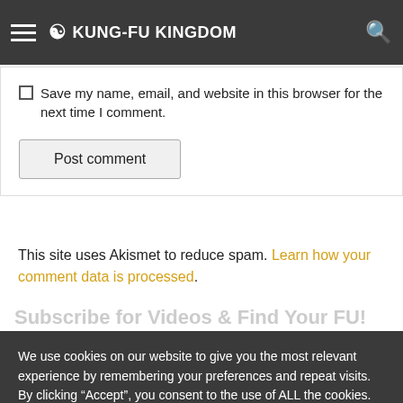KUNG-FU KINGDOM
Save my name, email, and website in this browser for the next time I comment.
Post comment
This site uses Akismet to reduce spam. Learn how your comment data is processed.
Subscribe for Videos & Find Your FU!
We use cookies on our website to give you the most relevant experience by remembering your preferences and repeat visits. By clicking “Accept”, you consent to the use of ALL the cookies.
[Figure (photo): Airplane cargo loading photo with orange banner button overlay and dark sidebar with text WITHOUT REGARD TO POLITICS, RELIGION, OR ABILITY TO PAY]